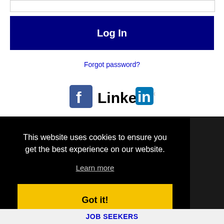[Figure (screenshot): Log In button - dark navy blue background with white bold text 'Log In']
Forgot password?
[Figure (logo): Facebook logo icon and LinkedIn logo side by side]
Get the latest Indiana jobs by following @recnetIN on
This website uses cookies to ensure you get the best experience on our website.
Learn more
Got it!
JOB SEEKERS